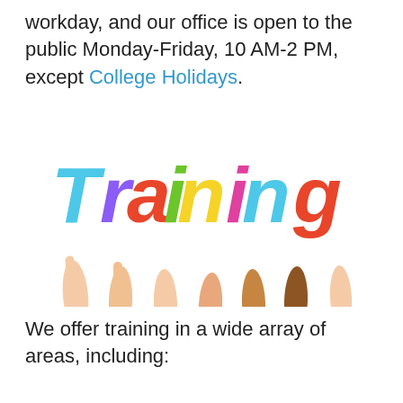workday, and our office is open to the public Monday-Friday, 10 AM-2 PM, except College Holidays.
[Figure (photo): Multiple diverse hands holding up colorful letters spelling 'Training' against a white background.]
We offer training in a wide array of areas, including: